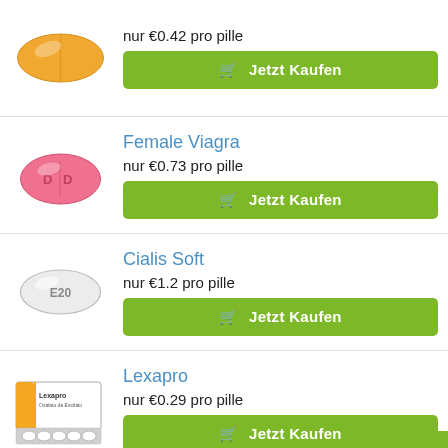[Figure (illustration): Orange oval pill/capsule]
nur €0.42 pro pille
Jetzt Kaufen
Female Viagra
[Figure (illustration): Pink oval pill with 'DB' imprint]
nur €0.73 pro pille
Jetzt Kaufen
Cialis Soft
[Figure (illustration): White oval pill with 'E20' imprint]
nur €1.2 pro pille
Jetzt Kaufen
Lexapro
[Figure (illustration): Lexapro medicine box with blister pack]
nur €0.29 pro pille
Jetzt Kaufen
Paroxetin